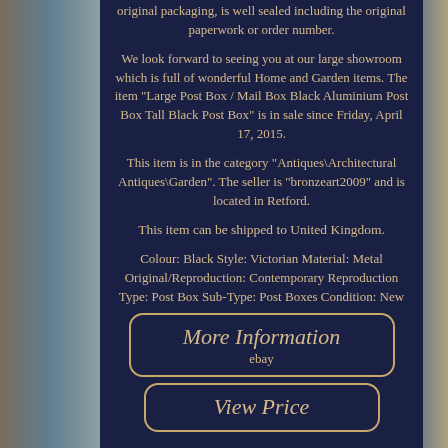original packaging, is well sealed including the original paperwork or order number.
We look forward to seeing you at our large showroom which is full of wonderful Home and Garden items. The item "Large Post Box / Mail Box Black Aluminium Post Box Tall Black Post Box" is in sale since Friday, April 17, 2015.
This item is in the category "Antiques\Architectural Antiques\Garden". The seller is "bronzeart2009" and is located in Retford.
This item can be shipped to United Kingdom.
Colour: Black Style: Victorian Material: Metal Original/Reproduction: Contemporary Reproduction Type: Post Box Sub-Type: Post Boxes Condition: New
[Figure (other): Button with italic text 'More Information' and 'ebay' below, gold border rounded rectangle on dark navy background]
[Figure (other): Button with italic text 'View Price', gold border rounded rectangle on dark navy background]